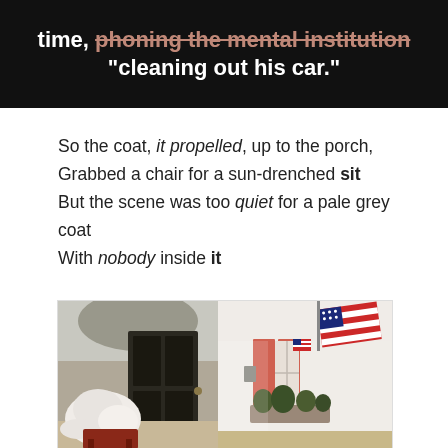[Figure (photo): Black background banner image with white bold text and strikethrough text in salmon/orange color reading: 'time, phoning the mental institution' (strikethrough) '"cleaning out his car."']
So the coat, it propelled, up to the porch,
Grabbed a chair for a sun-drenched sit
But the scene was too quiet for a pale grey coat
With nobody inside it
[Figure (photo): Outdoor photo of a porch scene showing a pale grey/white puffy coat draped over a red chair in front of a dark door, with a white house exterior featuring salmon/orange shutters, an American flag, and a window flower box with plants.]